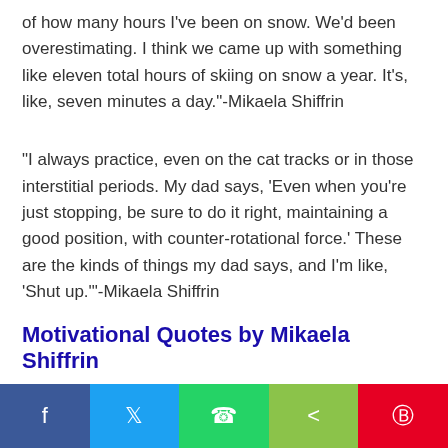of how many hours I've been on snow. We'd been overestimating. I think we came up with something like eleven total hours of skiing on snow a year. It's, like, seven minutes a day."-Mikaela Shiffrin
“I always practice, even on the cat tracks or in those interstitial periods. My dad says, ‘Even when you’re just stopping, be sure to do it right, maintaining a good position, with counter-rotational force.’ These are the kinds of things my dad says, and I’m like, ‘Shut up.’”-Mikaela Shiffrin
Motivational Quotes by Mikaela Shiffrin